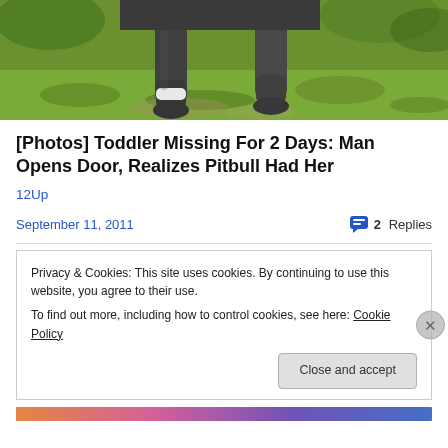[Figure (photo): Cropped photo showing the lower legs and paws of a dog (pitbull) standing on grass and dirt ground]
[Photos] Toddler Missing For 2 Days: Man Opens Door, Realizes Pitbull Had Her
12Up
September 11, 2011
2 Replies
Privacy & Cookies: This site uses cookies. By continuing to use this website, you agree to their use.
To find out more, including how to control cookies, see here: Cookie Policy
Close and accept